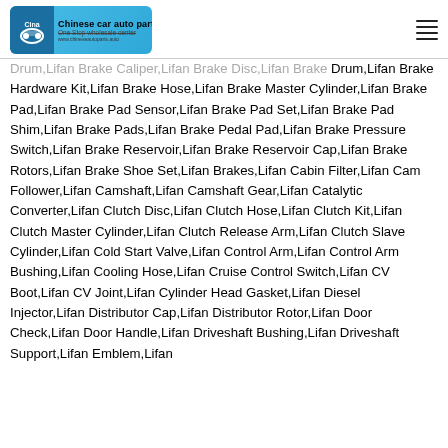[Figure (logo): Chinese car auto parts logo - One Stop wholesale center]
Drum,Lifan Brake Hardware Kit,Lifan Brake Hose,Lifan Brake Master Cylinder,Lifan Brake Pad,Lifan Brake Pad Sensor,Lifan Brake Pad Set,Lifan Brake Pad Shim,Lifan Brake Pads,Lifan Brake Pedal Pad,Lifan Brake Pressure Switch,Lifan Brake Reservoir,Lifan Brake Reservoir Cap,Lifan Brake Rotors,Lifan Brake Shoe Set,Lifan Brakes,Lifan Cabin Filter,Lifan Cam Follower,Lifan Camshaft,Lifan Camshaft Gear,Lifan Catalytic Converter,Lifan Clutch Disc,Lifan Clutch Hose,Lifan Clutch Kit,Lifan Clutch Master Cylinder,Lifan Clutch Release Arm,Lifan Clutch Slave Cylinder,Lifan Cold Start Valve,Lifan Control Arm,Lifan Control Arm Bushing,Lifan Cooling Hose,Lifan Cruise Control Switch,Lifan CV Boot,Lifan CV Joint,Lifan Cylinder Head Gasket,Lifan Diesel Injector,Lifan Distributor Cap,Lifan Distributor Rotor,Lifan Door Check,Lifan Door Handle,Lifan Driveshaft Bushing,Lifan Driveshaft Support,Lifan Emblem,Lifan